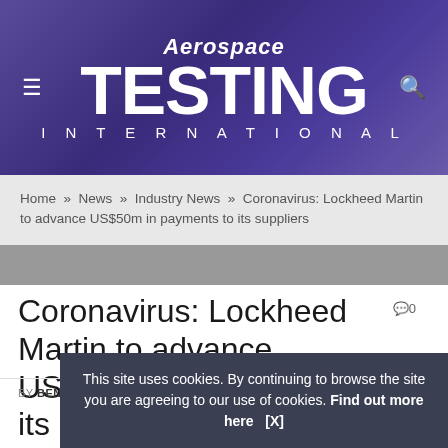Aerospace TESTING INTERNATIONAL
Home » News » Industry News » Coronavirus: Lockheed Martin to advance US$50m in payments to its suppliers
Coronavirus: Lockheed Martin to advance US$50m in payments to its suppliers
BY BEN SAMPSON ON 31ST MARCH 2020    INDUSTRY NEWS
This site uses cookies. By continuing to browse the site you are agreeing to our use of cookies. Find out more here   [X]